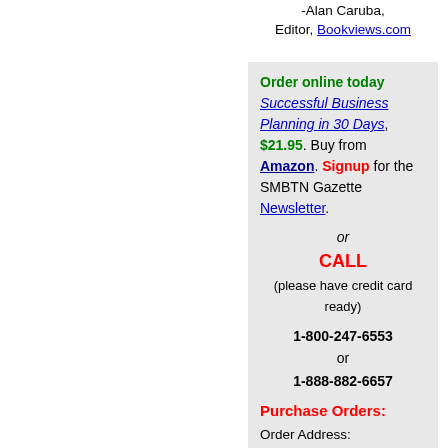-Alan Caruba, Editor, Bookviews.com
Order online today Successful Business Planning in 30 Days, $21.95. Buy from Amazon. Signup for the SMBTN Gazette Newsletter.

or
CALL
(please have credit card ready)

1-800-247-6553
or
1-888-882-6657

Purchase Orders:

Order Address:

Patsula Media
BookMasters Inc.
2541 Ashland rd.
P.O, Box 2139
Mansfield, OH
44905

Fax: (419) 281-6883